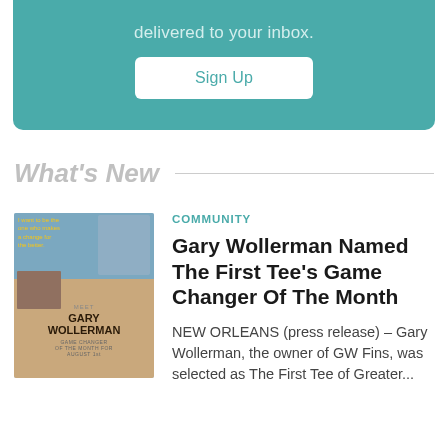delivered to your inbox.
[Figure (other): Sign Up button on teal background]
What's New
[Figure (photo): Article thumbnail showing Gary Wollerman promotional image with people and text overlay]
COMMUNITY
Gary Wollerman Named The First Tee's Game Changer Of The Month
NEW ORLEANS (press release) – Gary Wollerman, the owner of GW Fins, was selected as The First Tee of Greater...